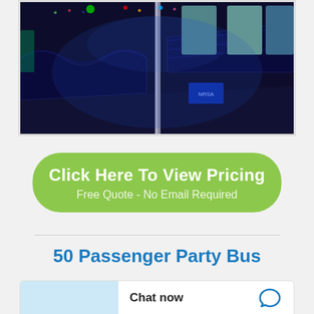[Figure (photo): Interior of a party bus with blue LED lighting, leather bench seating along both sides, a pole in the center, and windows showing outdoor scenery]
Click Here To View Pricing
Free Quote - No Email Required
50 Passenger Party Bus
Chat now